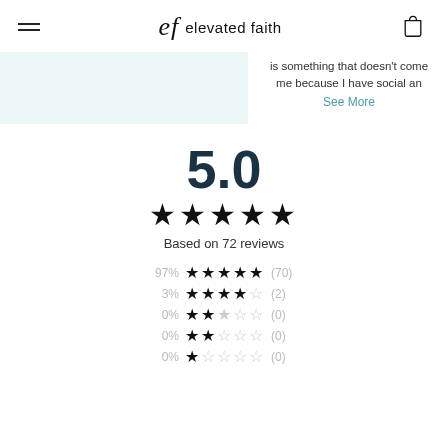elevated faith
is something that doesn't come me because I have social an
See More
5.0
★★★★★
Based on 72 reviews
| Percent | Stars | Count |
| --- | --- | --- |
| 97% | ★★★★★ | (70) |
| 3% | ★★★★☆ | (2) |
| 0% | ★★★☆☆ | (0) |
| 0% | ★★☆☆☆ | (0) |
| 0% | ★☆☆☆☆ | (0) |